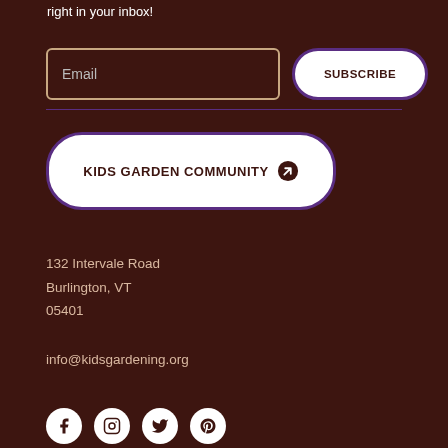right in your inbox!
Email [input field] SUBSCRIBE [button]
KIDS GARDEN COMMUNITY →
132 Intervale Road
Burlington, VT
05401
info@kidsgardening.org
[Figure (illustration): Social media icons row: Facebook, Instagram, Twitter, Pinterest — white circles on dark brown background]